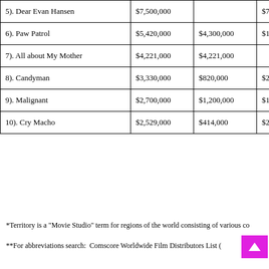| Movie | Total | Domestic | Intl |
| --- | --- | --- | --- |
| 5).  Dear Evan Hansen | $7,500,000 |  | $7,5 |
| 6).  Paw Patrol | $5,420,000 | $4,300,000 | $1,1 |
| 7).  All about My Mother | $4,221,000 | $4,221,000 |  |
| 8).  Candyman | $3,330,000 | $820,000 | $2,5 |
| 9).  Malignant | $2,700,000 | $1,200,000 | $1,5 |
| 10).  Cry Macho | $2,529,000 | $414,000 | $2,1 |
*Territory is a "Movie Studio" term for regions of the world consisting of various co
**For abbreviations search:  Comscore Worldwide Film Distributors List (